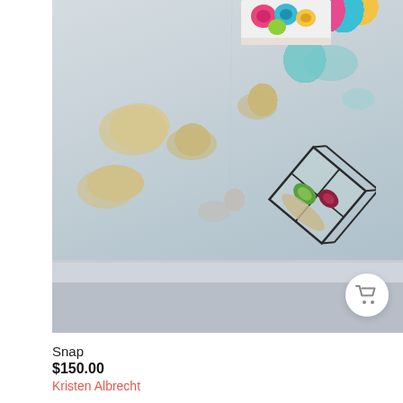[Figure (photo): Product photo of a geometric glass terrarium with succulents, tilted diagonally on a white shelf against a distressed painted wall with peeling paint. A colorful floral box is visible at the top. A shopping cart button is overlaid at the bottom right of the image.]
Snap
$150.00
Kristen Albrecht